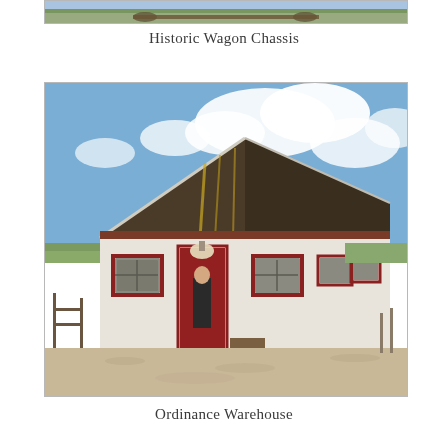[Figure (photo): Partial view of historic wagon chassis — a landscape photo cropped at top showing grass and prairie land, just the bottom strip visible]
Historic Wagon Chassis
[Figure (photo): Ordinance Warehouse building: a long white-walled structure with a steep dark wood-paneled gabled roof, red door and red-framed windows, gravel foreground, blue sky with clouds, prairie landscape in background. A person stands in the doorway.]
Ordinance Warehouse